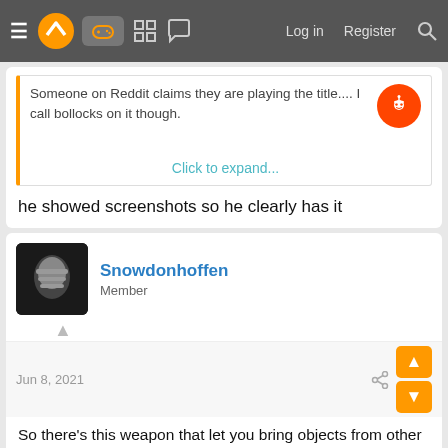≡ [logo] [controller icon] [grid icon] [chat icon]   Log in   Register   [search]
Someone on Reddit claims they are playing the title.... I call bollocks on it though.
Click to expand...
he showed screenshots so he clearly has it
Snowdonhoffen
Member
Jun 8, 2021
So there's this weapon that let you bring objects from other dimensions, and you can bring a f*cking Thunderjaw from Horizon